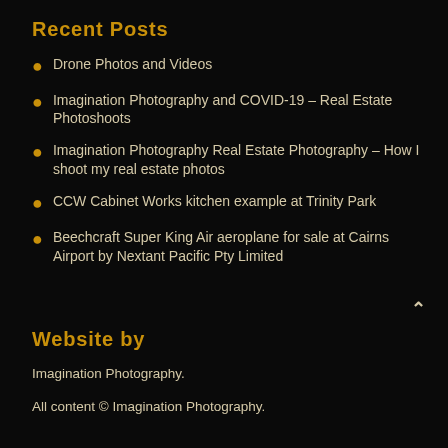Recent Posts
Drone Photos and Videos
Imagination Photography and COVID-19 – Real Estate Photoshoots
Imagination Photography Real Estate Photography – How I shoot my real estate photos
CCW Cabinet Works kitchen example at Trinity Park
Beechcraft Super King Air aeroplane for sale at Cairns Airport by Nextant Pacific Pty Limited
Website by
Imagination Photography.
All content © Imagination Photography.